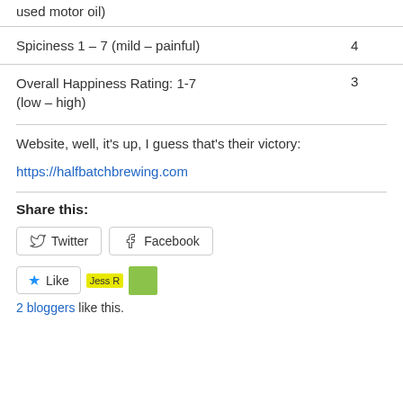used motor oil)
| Spiciness 1 – 7 (mild – painful) | 4 |
| Overall Happiness Rating: 1-7 (low – high) | 3 |
Website, well, it's up, I guess that's their victory:
https://halfbatchbrewing.com
Share this:
Twitter   Facebook
Like
2 bloggers like this.